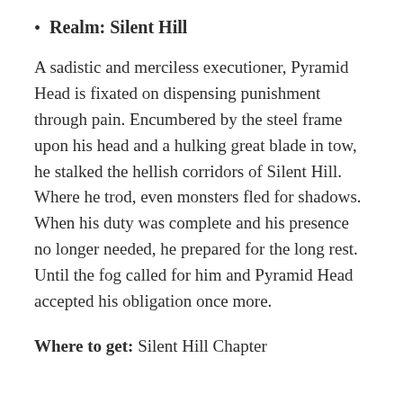Realm: Silent Hill
A sadistic and merciless executioner, Pyramid Head is fixated on dispensing punishment through pain. Encumbered by the steel frame upon his head and a hulking great blade in tow, he stalked the hellish corridors of Silent Hill. Where he trod, even monsters fled for shadows. When his duty was complete and his presence no longer needed, he prepared for the long rest. Until the fog called for him and Pyramid Head accepted his obligation once more.
Where to get: Silent Hill Chapter